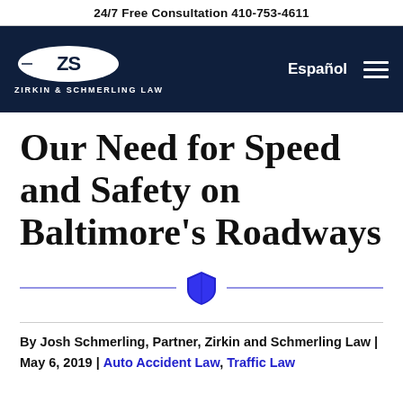24/7 Free Consultation 410-753-4611
[Figure (logo): Zirkin & Schmerling Law logo: white oval with ZS initials, text ZIRKIN & SCHMERLING LAW below, on dark navy background. Right side has Español link and hamburger menu.]
Our Need for Speed and Safety on Baltimore's Roadways
[Figure (illustration): Decorative divider: two horizontal blue lines with a blue shield icon in the center]
By Josh Schmerling, Partner, Zirkin and Schmerling Law | May 6, 2019 | Auto Accident Law, Traffic Law